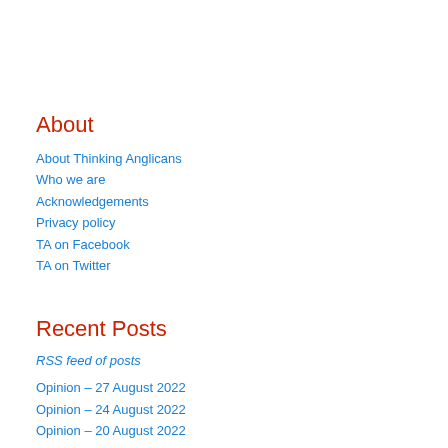About
About Thinking Anglicans
Who we are
Acknowledgements
Privacy policy
TA on Facebook
TA on Twitter
Recent Posts
RSS feed of posts
Opinion – 27 August 2022
Opinion – 24 August 2022
Opinion – 20 August 2022
Opinion – 17 August 2022
Opinion – 13 August 2022
Bishop of Aberdeen & Orkney suspended
Archbishops' Council and ISB: letter to Charity Commission